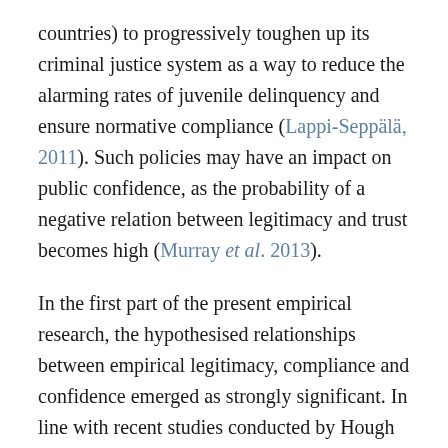countries) to progressively toughen up its criminal justice system as a way to reduce the alarming rates of juvenile delinquency and ensure normative compliance (Lappi-Seppälä, 2011). Such policies may have an impact on public confidence, as the probability of a negative relation between legitimacy and trust becomes high (Murray et al. 2013).
In the first part of the present empirical research, the hypothesised relationships between empirical legitimacy, compliance and confidence emerged as strongly significant. In line with recent studies conducted by Hough et al. (2013) using the European Social Survey, and Zsolt (2012) working on the European "Fiducia Project", the findings presented